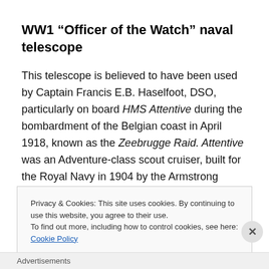WW1 “Officer of the Watch” naval telescope
This telescope is believed to have been used by Captain Francis E.B. Haselfoot, DSO, particularly on board HMS Attentive during the bombardment of the Belgian coast in April 1918, known as the Zeebrugge Raid. Attentive was an Adventure-class scout cruiser, built for the Royal Navy in 1904 by the Armstrong Whitworth yards at Elswick, Tyne
Privacy & Cookies: This site uses cookies. By continuing to use this website, you agree to their use.
To find out more, including how to control cookies, see here: Cookie Policy
Close and accept
Advertisements